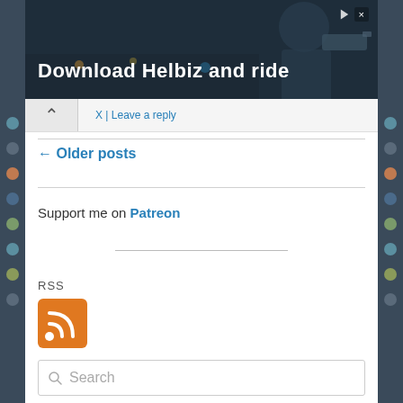[Figure (screenshot): Advertisement banner at top: dark background with person holding camera equipment, text 'Download Helbiz and ride' in white bold font, with close/ad icons top right]
X | Leave a reply
← Older posts
Support me on Patreon
RSS
[Figure (logo): Orange RSS feed icon with white signal waves]
Search